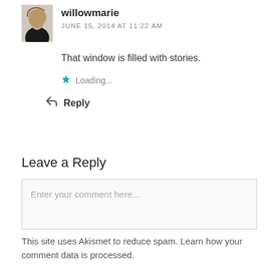willowmarie
JUNE 15, 2014 AT 11:22 AM
That window is filled with stories.
Loading...
Reply
Leave a Reply
Enter your comment here...
This site uses Akismet to reduce spam. Learn how your comment data is processed.